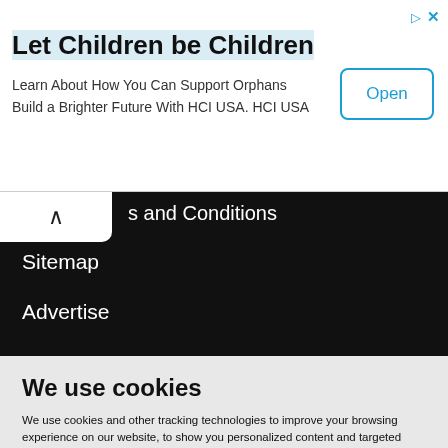[Figure (screenshot): Advertisement banner for 'Let Children be Children' by HCI USA with an 'Open' button]
s and Conditions
Sitemap
Advertise
We use cookies
We use cookies and other tracking technologies to improve your browsing experience on our website, to show you personalized content and targeted ads, to analyze our website traffic, and to understand where our visitors are coming from.
I agree  Change my preferences